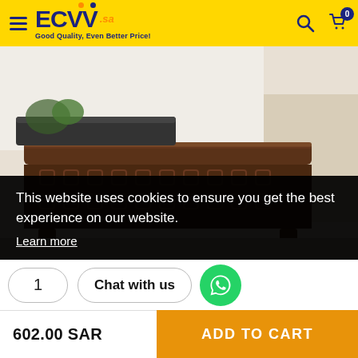ECVV.sa — Good Quality, Even Better Price!
[Figure (photo): Close-up photo of a dark walnut wood Chinese-style side table with carved lattice apron, viewed from above-front angle. A dark rectangular tray with greenery sits on top. Background has a beige/cream panel on the right side.]
This website uses cookies to ensure you get the best experience on our website.
Learn more
1
Chat with us
602.00 SAR
ADD TO CART